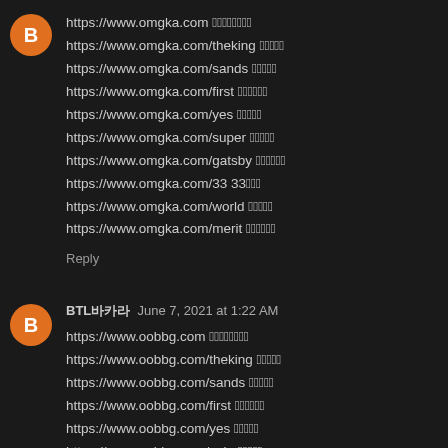https://www.omgka.com 바카라사이트
https://www.omgka.com/theking 더킹카지노
https://www.omgka.com/sands 샌즈카지노
https://www.omgka.com/first 퍼스트카지노
https://www.omgka.com/yes 예스카지노
https://www.omgka.com/super 슈퍼카지노
https://www.omgka.com/gatsby 개츠비카지노
https://www.omgka.com/33 33카지노
https://www.omgka.com/world 월드카지노
https://www.omgka.com/merit 메리트카지노
Reply
BTL바카라 June 7, 2021 at 1:22 AM
https://www.oobbg.com 바카라사이트
https://www.oobbg.com/theking 더킹카지노
https://www.oobbg.com/sands 샌즈카지노
https://www.oobbg.com/first 퍼스트카지노
https://www.oobbg.com/yes 예스카지노
https://www.oobbg.com/coin 코인카지노
https://www.oobbg.com/33 33카지노